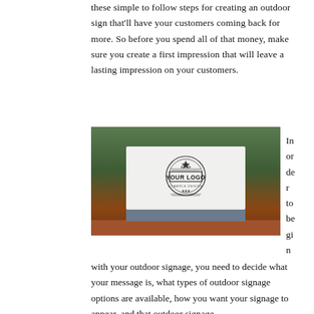these simple to follow steps for creating an outdoor sign that'll have your customers coming back for more. So before you spend all of that money, make sure you create a first impression that will leave a lasting impression on your customers.
[Figure (photo): Outdoor sign with a white rectangular board displaying 'YOUR LOGO - EXAMPLE DESIGN' with a circular stamp design, mounted on a dark grey base, surrounded by green trees and reddish-brown ground.]
In order to begin with your outdoor signage, you need to decide what your message is, what types of outdoor signage options are available, how you want your signage to appear, and that outdoor signage